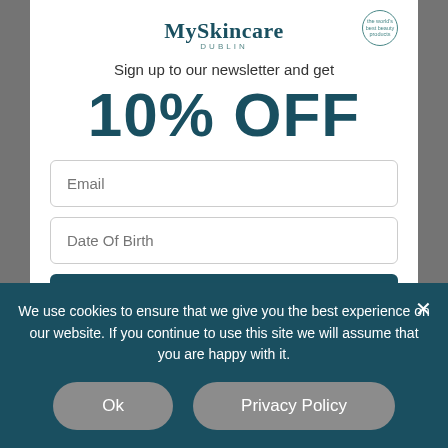[Figure (logo): MySkincare logo with circular badge and DUBLIN subtitle]
Sign up to our newsletter and get
10% OFF
Email (input field placeholder)
Date Of Birth (input field placeholder)
We use cookies to ensure that we give you the best experience on our website. If you continue to use this site we will assume that you are happy with it.
Ok
Privacy Policy